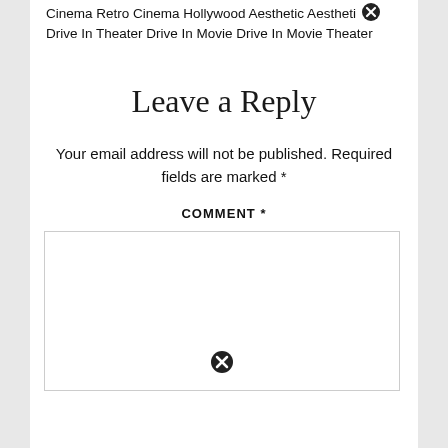Cinema Retro Cinema Hollywood Aesthetic Aestheti Drive In Theater Drive In Movie Drive In Movie Theater
Leave a Reply
Your email address will not be published. Required fields are marked *
COMMENT *
[Figure (other): Comment text input box with a close/cancel icon at the bottom center]